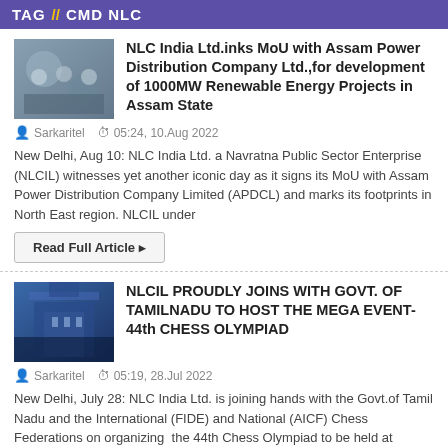TAG  CMD NLC
[Figure (photo): Thumbnail photo of people at a signing event]
NLC India Ltd.inks MoU with Assam Power Distribution Company Ltd.,for development of 1000MW Renewable Energy Projects in Assam State
Sarkaritel   05:24, 10.Aug 2022
New Delhi, Aug 10: NLC India Ltd. a Navratna Public Sector Enterprise (NLCIL) witnesses yet another iconic day as it signs its MoU with Assam Power Distribution Company Limited (APDCL) and marks its footprints in North East region. NLCIL under
Read Full Article ▸
[Figure (photo): Thumbnail photo of a building with blue sky]
NLCIL PROUDLY JOINS WITH GOVT. OF TAMILNADU TO HOST THE MEGA EVENT- 44th CHESS OLYMPIAD
Sarkaritel   05:19, 28.Jul 2022
New Delhi, July 28: NLC India Ltd. is joining hands with the Govt.of Tamil Nadu and the International (FIDE) and National (AICF) Chess Federations on organizing  the 44th Chess Olympiad to be held at Mahabalipuram, Chennai by taking the lead.